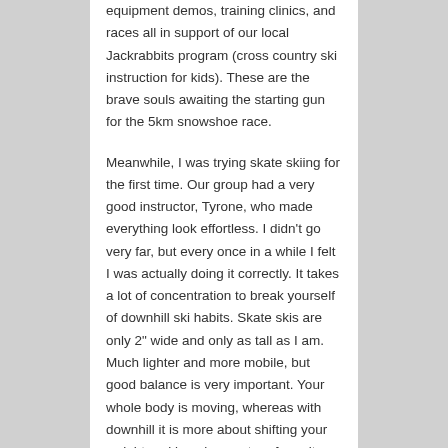equipment demos, training clinics, and races all in support of our local Jackrabbits program (cross country ski instruction for kids). These are the brave souls awaiting the starting gun for the 5km snowshoe race.
Meanwhile, I was trying skate skiing for the first time. Our group had a very good instructor, Tyrone, who made everything look effortless. I didn't go very far, but every once in a while I felt I was actually doing it correctly. It takes a lot of concentration to break yourself of downhill ski habits. Skate skis are only 2" wide and only as tall as I am. Much lighter and more mobile, but good balance is very important. Your whole body is moving, whereas with downhill it is more about shifting your weight and keeping center of gravity.
[Figure (photo): Black and white photograph of snow-covered tree branches]